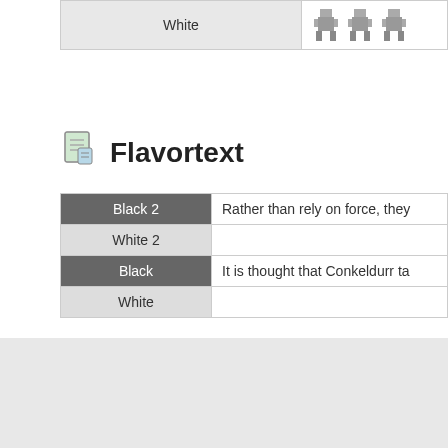| Game | Sprites |
| --- | --- |
| White | [sprites] |
Flavortext
| Game | Text |
| --- | --- |
| Black 2 | Rather than rely on force, they... |
| White 2 | Rather than rely on force, they... |
| Black | It is thought that Conkeldurr ta... |
| White | It is thought that Conkeldurr ta... |
← #533 Gurdurr